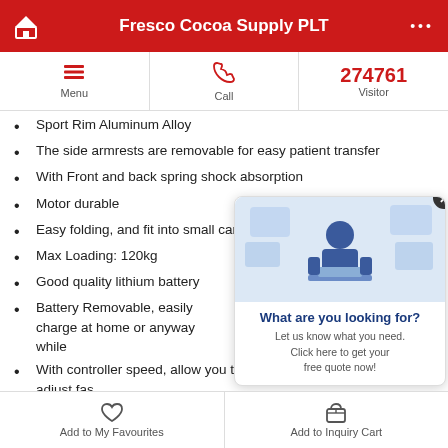Fresco Cocoa Supply PLT
Sport Rim Aluminum Alloy
The side armrests are removable for easy patient transfer
With Front and back spring shock absorption
Motor durable
Easy folding, and fit into small car
Max Loading: 120kg
Good quality lithium battery
Battery Removable, easily charge at home or anyway while travel
With controller speed, allow you to adjust fast or slow
Max Speed: 6km/h
Brake system: auto brake when you leave you...
Front and reverse function
Estimate range: 15 -20kg
Our Service team work shop is at Kuala Lumpur Fresco Bike...
[Figure (illustration): Popup widget showing a person at a computer with text 'What are you looking for? Let us know what you need. Click here to get your free quote now!']
Add to My Favourites   Add to Inquiry Cart